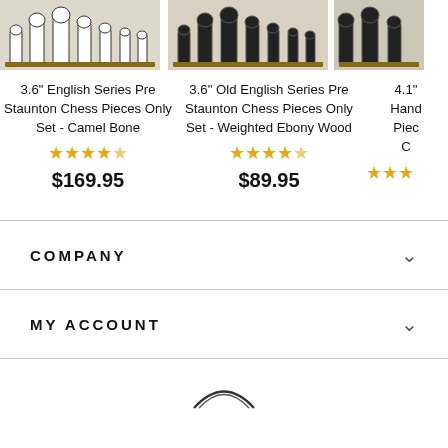[Figure (photo): Chess pieces product image - 3.6 inch English Series Pre Staunton Chess Pieces Only Set - Camel Bone]
3.6" English Series Pre Staunton Chess Pieces Only Set - Camel Bone
★★★★☆
$169.95
[Figure (photo): Chess pieces product image - 3.6 inch Old English Series Pre Staunton Chess Pieces Only Set - Weighted Ebony Wood]
3.6" Old English Series Pre Staunton Chess Pieces Only Set - Weighted Ebony Wood
★★★★☆
$89.95
[Figure (photo): Partial chess pieces product image - 4.1 inch Hand... Pieces Only Set C...]
4.1"
Hand
Piec
C
★★★
COMPANY
MY ACCOUNT